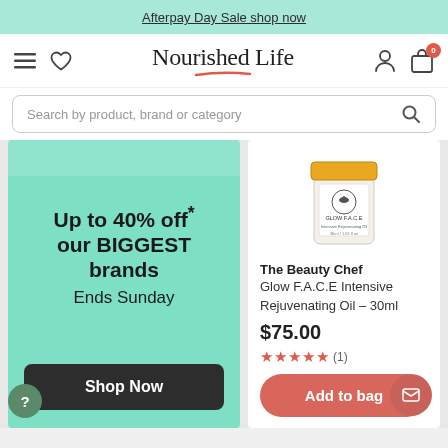Afterpay Day Sale shop now
[Figure (logo): Nourished Life logo with navigation icons: hamburger menu, heart, user icon, bag with badge showing 0]
Search by product, brand or category
[Figure (infographic): Green promo tile: Up to 40% off* our BIGGEST brands Ends Sunday — Shop Now button]
[Figure (photo): The Beauty Chef Glow F.A.C.E Intensive Rejuvenating Oil 30ml product image — white jar with yellow lid]
The Beauty Chef
Glow F.A.C.E Intensive Rejuvenating Oil – 30ml
$75.00
★★★★★ (1)
Add to bag